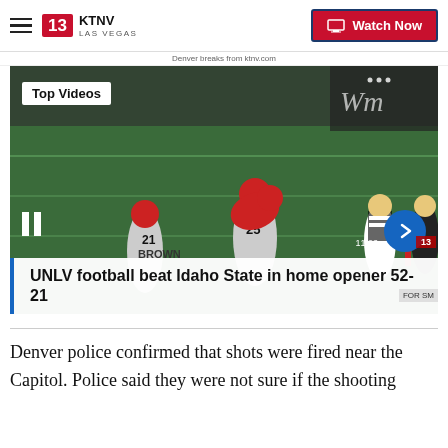KTNV LAS VEGAS | Watch Now
Denver breaks from ktnv.com
[Figure (screenshot): Video player showing UNLV football game against Idaho State. Players on field, referee visible. Top Videos badge, pause and next arrow controls visible.]
UNLV football beat Idaho State in home opener 52-21
Denver police confirmed that shots were fired near the Capitol. Police said they were not sure if the shooting